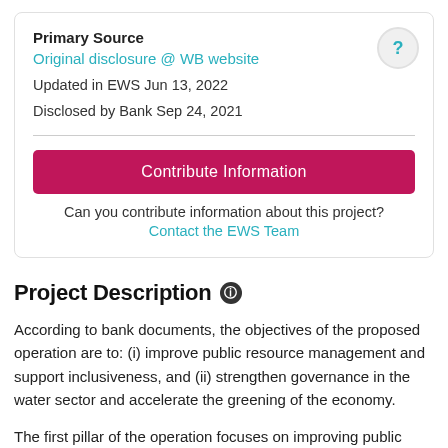Primary Source
Original disclosure @ WB website
Updated in EWS Jun 13, 2022
Disclosed by Bank Sep 24, 2021
Contribute Information
Can you contribute information about this project?
Contact the EWS Team
Project Description
According to bank documents, the objectives of the proposed operation are to: (i) improve public resource management and support inclusiveness, and (ii) strengthen governance in the water sector and accelerate the greening of the economy.
The first pillar of the operation focuses on improving public resource